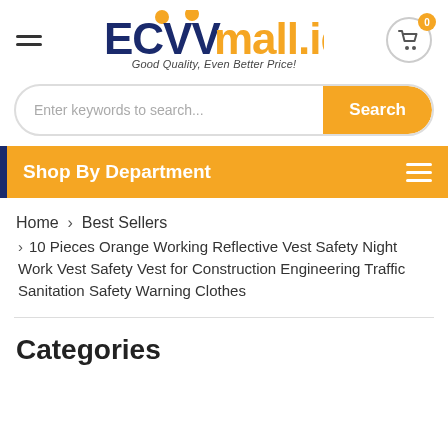[Figure (logo): ECVV mall.iq logo with orange dots and tagline 'Good Quality, Even Better Price!']
Enter keywords to search...
Search
Shop By Department
Home > Best Sellers > 10 Pieces Orange Working Reflective Vest Safety Night Work Vest Safety Vest for Construction Engineering Traffic Sanitation Safety Warning Clothes
Categories